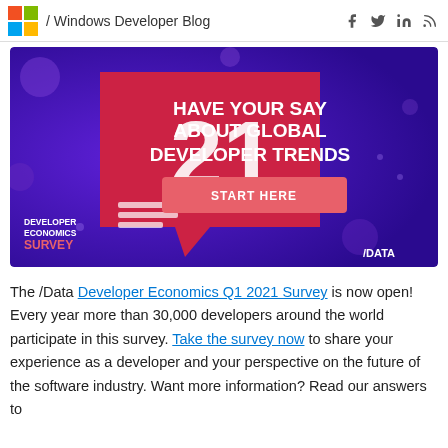/ Windows Developer Blog
[Figure (illustration): Developer Economics Survey banner ad with purple background, 3D '20' numeral graphic, headline 'HAVE YOUR SAY ABOUT GLOBAL DEVELOPER TRENDS', a 'START HERE' button, and '/DATA' logo in the lower right.]
The /Data Developer Economics Q1 2021 Survey is now open! Every year more than 30,000 developers around the world participate in this survey. Take the survey now to share your experience as a developer and your perspective on the future of the software industry. Want more information? Read our answers to